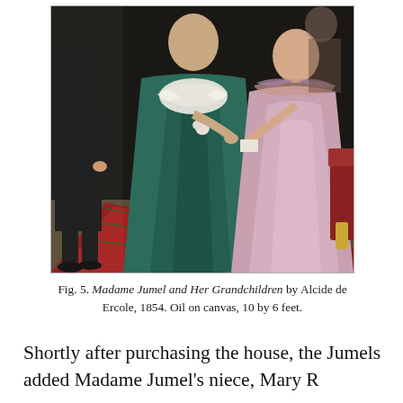[Figure (photo): Oil painting depicting Madame Jumel and Her Grandchildren by Alcide de Ercole, 1854. Shows three figures in 19th century dress standing and seated on an ornate red carpet. A woman in a dark teal gown with white lace collar stands center-left, a man in dark suit stands at left, and a young woman in a pink off-shoulder gown is seated at right. Dark background.]
Fig. 5. Madame Jumel and Her Grandchildren by Alcide de Ercole, 1854. Oil on canvas, 10 by 6 feet.
Shortly after purchasing the house, the Jumels added Madame Jumel's niece, Mary R...